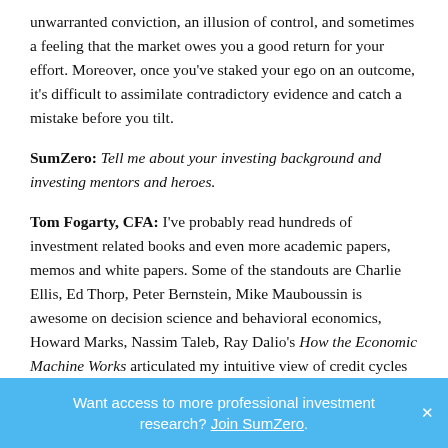unwarranted conviction, an illusion of control, and sometimes a feeling that the market owes you a good return for your effort. Moreover, once you've staked your ego on an outcome, it's difficult to assimilate contradictory evidence and catch a mistake before you tilt.
SumZero: Tell me about your investing background and investing mentors and heroes.
Tom Fogarty, CFA: I've probably read hundreds of investment related books and even more academic papers, memos and white papers. Some of the standouts are Charlie Ellis, Ed Thorp, Peter Bernstein, Mike Mauboussin is awesome on decision science and behavioral economics, Howard Marks, Nassim Taleb, Ray Dalio's How the Economic Machine Works articulated my intuitive view of credit cycles very clearly, George Soros, Jim Rogers' analysis of commodity supply and demand applies
Want access to more professional investment research? Join SumZero.